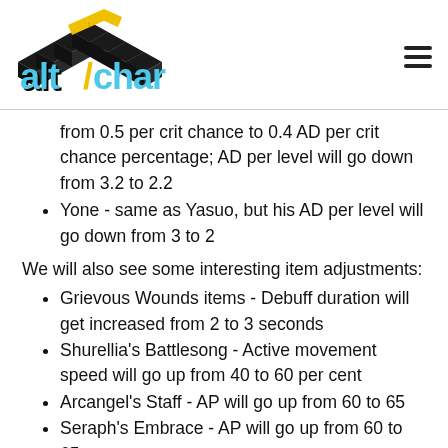AltChar logo and navigation
from 0.5 per crit chance to 0.4 AD per crit chance percentage; AD per level will go down from 3.2 to 2.2
Yone - same as Yasuo, but his AD per level will go down from 3 to 2
We will also see some interesting item adjustments:
Grievous Wounds items - Debuff duration will get increased from 2 to 3 seconds
Shurellia's Battlesong - Active movement speed will go up from 40 to 60 per cent
Arcangel's Staff - AP will go up from 60 to 65
Seraph's Embrace - AP will go up from 60 to 65
Ionian Boots of Lucidity - Ability Haste will go up from 15 to 20